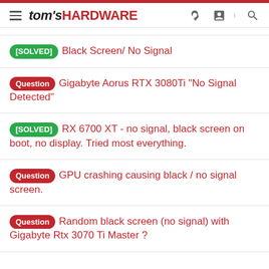tom's HARDWARE
[SOLVED] Black Screen/ No Signal
Question Gigabyte Aorus RTX 3080Ti "No Signal Detected"
[SOLVED] RX 6700 XT - no signal, black screen on boot, no display. Tried most everything.
Question GPU crashing causing black / no signal screen.
Question Random black screen (no signal) with Gigabyte Rtx 3070 Ti Master ?